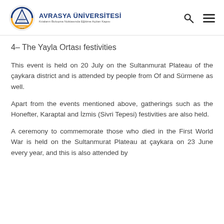AVRASYA ÜNİVERSİTESİ — Kıtaların Buluşma Noktasında Eğitime Açılan Kapısı
4– The Yayla Ortası festivities
This event is held on 20 July on the Sultanmurat Plateau of the çaykara district and is attended by people from Of and Sürmene as well.
Apart from the events mentioned above, gatherings such as the Honefter, Karaptal and İzmis (Sivri Tepesi) festivities are also held.
A ceremony to commemorate those who died in the First World War is held on the Sultanmurat Plateau at çaykara on 23 June every year, and this is also attended by